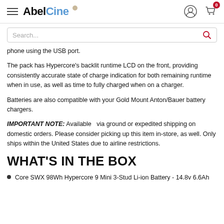AbelCine
phone using the USB port.
The pack has Hypercore's backlit runtime LCD on the front, providing consistently accurate state of charge indication for both remaining runtime when in use, as well as time to fully charged when on a charger.
Batteries are also compatible with your Gold Mount Anton/Bauer battery chargers.
IMPORTANT NOTE: Available  via ground or expedited shipping on domestic orders. Please consider picking up this item in-store, as well. Only ships within the United States due to airline restrictions.
WHAT'S IN THE BOX
Core SWX 98Wh Hypercore 9 Mini 3-Stud Li-ion Battery - 14.8v 6.6Ah